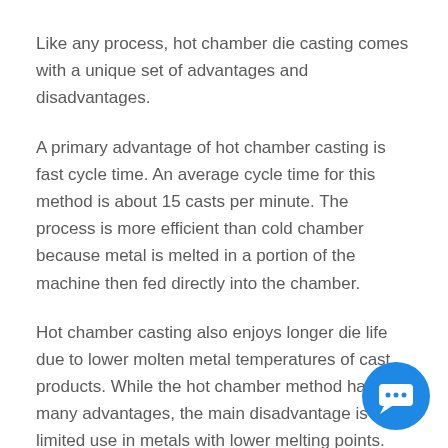Like any process, hot chamber die casting comes with a unique set of advantages and disadvantages.
A primary advantage of hot chamber casting is fast cycle time. An average cycle time for this method is about 15 casts per minute. The process is more efficient than cold chamber because metal is melted in a portion of the machine then fed directly into the chamber.
Hot chamber casting also enjoys longer die life due to lower molten metal temperatures of cast products. While the hot chamber method has many advantages, the main disadvantage is its limited use in metals with lower melting points.
[Figure (illustration): Blue circular chat/messenger icon with white speech bubble containing ellipsis dots, positioned in the bottom-right corner]